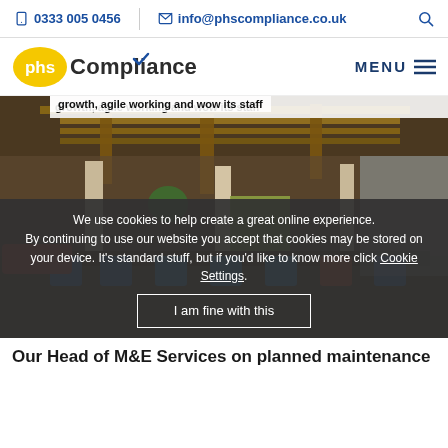0333 005 0456  info@phscompliance.co.uk
[Figure (logo): phs Compliance logo with yellow oval and blue checkmark]
[Figure (photo): Modern open-plan office interior with wooden ceiling beams, colourful chairs and seating areas]
growth, agile working and wow its staff
We use cookies to help create a great online experience. By continuing to use our website you accept that cookies may be stored on your device. It's standard stuff, but if you'd like to know more click Cookie Settings.
I am fine with this
Our Head of M&E Services on planned maintenance